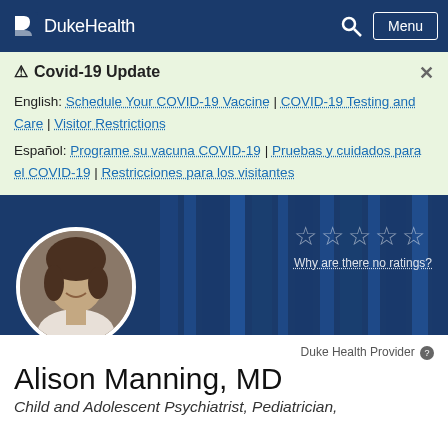DukeHealth — Menu
⚠ Covid-19 Update
English: Schedule Your COVID-19 Vaccine | COVID-19 Testing and Care | Visitor Restrictions
Español: Programe su vacuna COVID-19 | Pruebas y cuidados para el COVID-19 | Restricciones para los visitantes
[Figure (photo): Circular headshot photo of Dr. Alison Manning on a dark blue striped background, with 5 empty star rating icons and text 'Why are there no ratings?']
Duke Health Provider
Alison Manning, MD
Child and Adolescent Psychiatrist, Pediatrician,